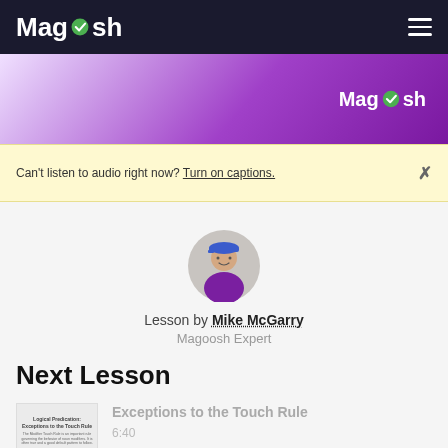Magoosh
[Figure (screenshot): Purple gradient banner with Magoosh logo in white text on right side]
Can't listen to audio right now? Turn on captions.
[Figure (photo): Circular avatar photo of Mike McGarry wearing a blue cap and purple shirt]
Lesson by Mike McGarry
Magoosh Expert
Next Lesson
[Figure (thumbnail): Small thumbnail image for lesson: Logical Predication Exceptions to the Touch Rule]
Exceptions to the Touch Rule
6:40